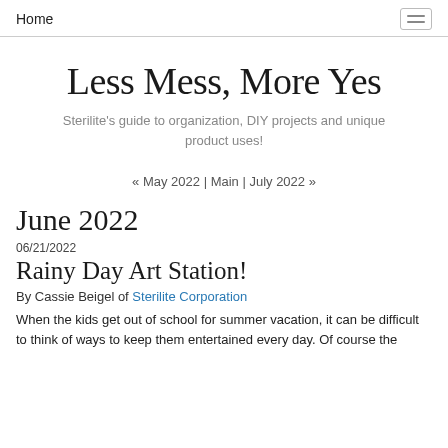Home
Less Mess, More Yes
Sterilite's guide to organization, DIY projects and unique product uses!
« May 2022 | Main | July 2022 »
June 2022
06/21/2022
Rainy Day Art Station!
By Cassie Beigel of Sterilite Corporation
When the kids get out of school for summer vacation, it can be difficult to think of ways to keep them entertained every day. Of course the